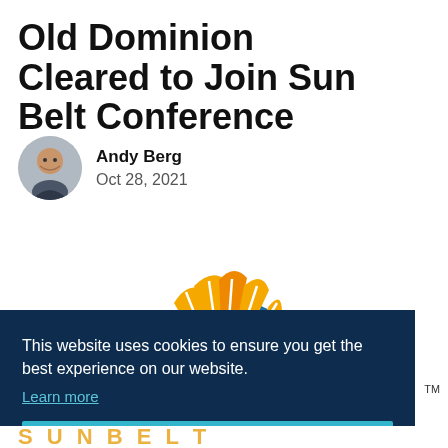Old Dominion Cleared to Join Sun Belt Conference
Andy Berg
Oct 28, 2021
[Figure (logo): Sun Belt Conference logo — semicircle sun with orange and blue rays]
This website uses cookies to ensure you get the best experience on our website.
Learn more
Got it!